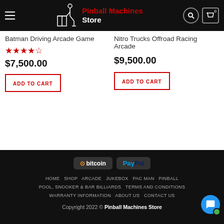Pinball Machines Store
Batman Driving Arcade Game
$7,500.00
ADD TO CART
Nitro Trucks Offroad Racing Arcade
$9,500.00
ADD TO CART
[Figure (logo): Bitcoin and PayPal payment badges]
HOME SHOP ARCADE JUKEBOX PAC MAN PINBALL POOL, SNOOKER & BAR BILLIARDS TERMS AND CONDITIONS WARRANTY INFORMATION ABOUT US CONTACT US
Copyright 2022 © Pinball Machines Store